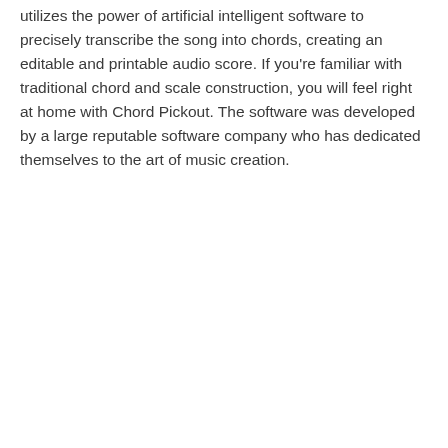utilizes the power of artificial intelligent software to precisely transcribe the song into chords, creating an editable and printable audio score. If you're familiar with traditional chord and scale construction, you will feel right at home with Chord Pickout. The software was developed by a large reputable software company who has dedicated themselves to the art of music creation.